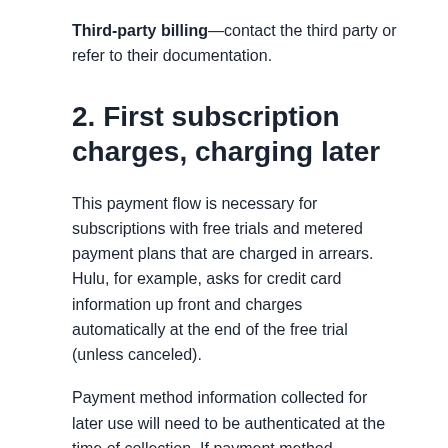Third-party billing—contact the third party or refer to their documentation.
2. First subscription charges, charging later
This payment flow is necessary for subscriptions with free trials and metered payment plans that are charged in arrears. Hulu, for example, asks for credit card information up front and charges automatically at the end of the free trial (unless canceled).
Payment method information collected for later use will need to be authenticated at the time of collection. If payment method information isn't authenticated, banks may decline these payments, and you may notice a decline in your free trial conversion rate or an